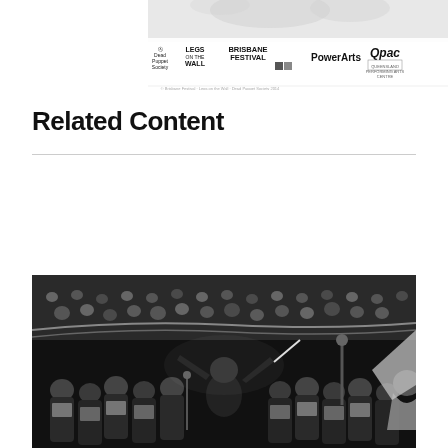[Figure (illustration): Banner with event logos: Dead Puppet Society, Legs On The Wall, Brisbane Festival, PowerArts, QPAC]
Related Content
[Figure (photo): Black and white photograph of a conductor leading a large choir in a concert hall with audience in tiered seating]